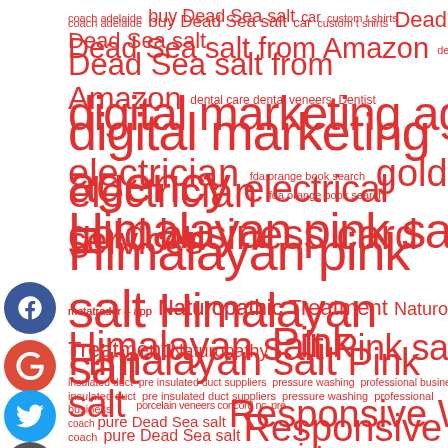[Figure (infographic): Tag cloud / word cloud of various search terms and topics in shades of red/pink on white background, with social media icons (Facebook, Google+, Twitter, plus) on the left side. Terms range in size indicating frequency/importance. Terms include: coach adelaide, buy Dead Sea salt, car, custom t shirts, Dead Sea salt, Dead Sea salt from Amazon, dental care, dental veneers, Dentist, digital marketing agency, electrical services, electrician, fda orange book search, gold business card, Himalayan pink salt, Himalayan salt, metatrader 4 app, Naturopathic Treatment, Naturopathy, Pink Himalayan salt, Pink salt, porcelain veneers concord nc, pre insulated duct, pre insulated duct suppliers, pressure washing, professional business coach, pure Dead Sea salt, Responsive Web Design, screw air compressors, SEO, services, social media, social media agency, Teeth Whitening, web design, web design company, web design services, Website]